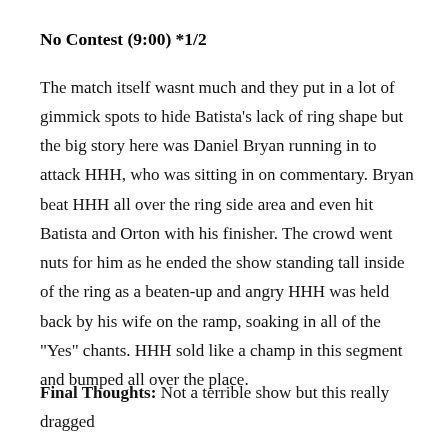No Contest (9:00) *1/2
The match itself wasnt much and they put in a lot of gimmick spots to hide Batista's lack of ring shape but the big story here was Daniel Bryan running in to attack HHH, who was sitting in on commentary. Bryan beat HHH all over the ring side area and even hit Batista and Orton with his finisher. The crowd went nuts for him as he ended the show standing tall inside of the ring as a beaten-up and angry HHH was held back by his wife on the ramp, soaking in all of the "Yes" chants. HHH sold like a champ in this segment and bumped all over the place.
Final Thoughts: Not a terrible show but this really dragged